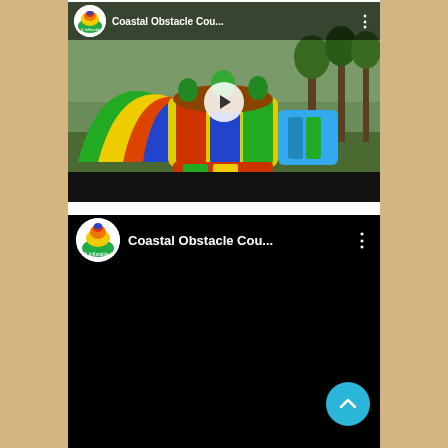[Figure (screenshot): YouTube video thumbnail showing Coastal Obstacle Cou... channel with an inflatable obstacle course (colorful bouncy castle with slide in green, yellow, red, blue colors on grass). Header bar with channel logo and name. Play button in center. Black bar at bottom.]
[Figure (screenshot): YouTube video player (dark/black screen, not yet playing) with header showing Coastal Obstacle Cou... channel logo and name, three-dot menu. Scroll-to-top cyan circular button at bottom right.]